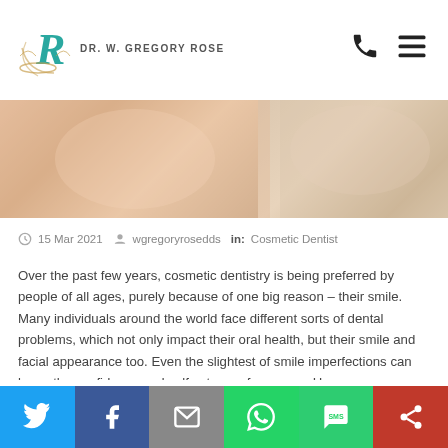DR. W. GREGORY ROSE
[Figure (photo): Close-up photos of a person's lower face/chin area showing skin texture, displayed side by side with a white gap between them]
15 Mar 2021  wgregoryrosedds  in: Cosmetic Dentist
Over the past few years, cosmetic dentistry is being preferred by people of all ages, purely because of one big reason – their smile. Many individuals around the world face different sorts of dental problems, which not only impact their oral health, but their smile and facial appearance too. Even the slightest of smile imperfections can lower the confidence and self esteem of a person. However, a professional cosmetic dentist can restore your smile or facial appearance by offering a range of dental solutions including veneers